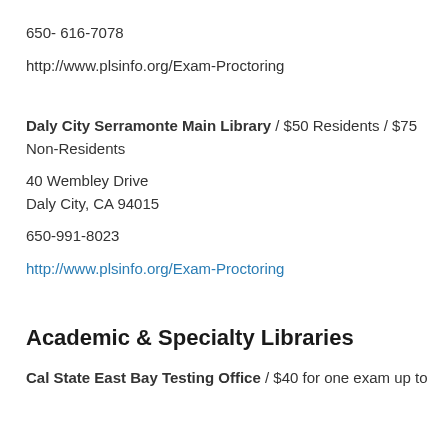650- 616-7078
http://www.plsinfo.org/Exam-Proctoring
Daly City Serramonte Main Library / $50 Residents / $75 Non-Residents
40 Wembley Drive
Daly City, CA 94015
650-991-8023
http://www.plsinfo.org/Exam-Proctoring
Academic & Specialty Libraries
Cal State East Bay Testing Office / $40 for one exam up to